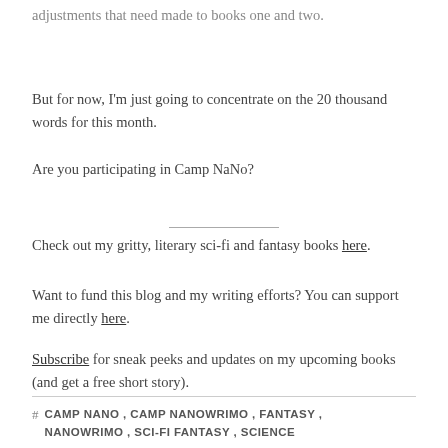adjustments that need made to books one and two.
But for now, I'm just going to concentrate on the 20 thousand words for this month.
Are you participating in Camp NaNo?
Check out my gritty, literary sci-fi and fantasy books here.
Want to fund this blog and my writing efforts? You can support me directly here.
Subscribe for sneak peeks and updates on my upcoming books (and get a free short story).
# CAMP NANO, CAMP NANOWRIMO, FANTASY, NANOWRIMO, SCI-FI FANTASY, SCIENCE